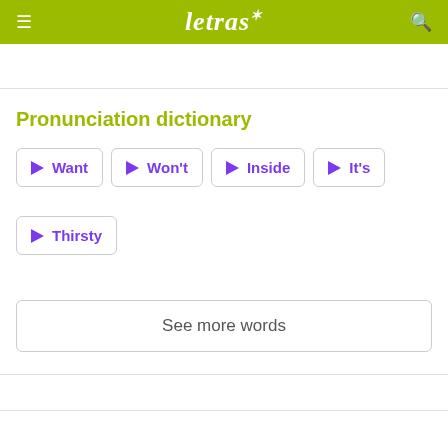letras
Pronunciation dictionary
▶ Want
▶ Won't
▶ Inside
▶ It's
▶ Thirsty
See more words